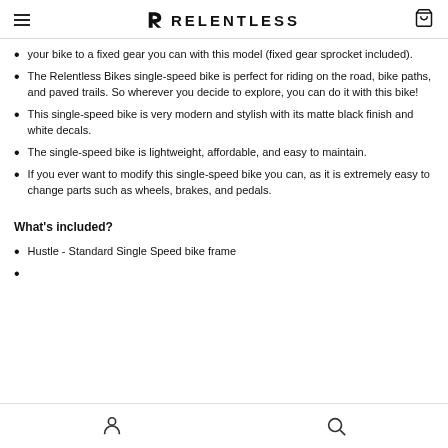RELENTLESS
your bike to a fixed gear you can with this model (fixed gear sprocket included).
The Relentless Bikes single-speed bike is perfect for riding on the road, bike paths, and paved trails. So wherever you decide to explore, you can do it with this bike!
This single-speed bike is very modern and stylish with its matte black finish and white decals.
The single-speed bike is lightweight, affordable, and easy to maintain.
If you ever want to modify this single-speed bike you can, as it is extremely easy to change parts such as wheels, brakes, and pedals.
What's included?
Hustle - Standard Single Speed bike frame